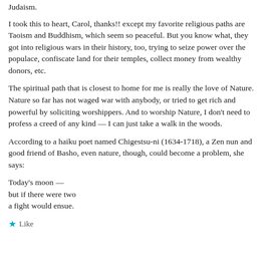Judaism.
I took this to heart, Carol, thanks!! except my favorite religious paths are Taoism and Buddhism, which seem so peaceful. But you know what, they got into religious wars in their history, too, trying to seize power over the populace, confiscate land for their temples, collect money from wealthy donors, etc.
The spiritual path that is closest to home for me is really the love of Nature. Nature so far has not waged war with anybody, or tried to get rich and powerful by soliciting worshippers. And to worship Nature, I don't need to profess a creed of any kind — I can just take a walk in the woods.
According to a haiku poet named Chigestsu-ni (1634-1718), a Zen nun and good friend of Basho, even nature, though, could become a problem, she says:
Today's moon —
but if there were two
a fight would ensue.
Like